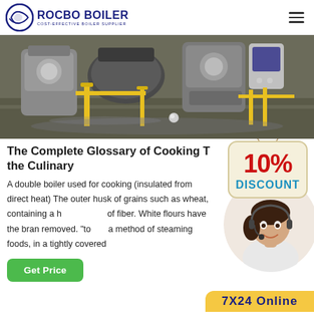ROCBO BOILER | COST-EFFECTIVE BOILER SUPPLIER
[Figure (photo): Industrial boiler room with large boilers, yellow pipes, and equipment on a wet concrete floor]
The Complete Glossary of Cooking T... the Culinary
[Figure (infographic): 10% DISCOUNT badge/sign in red and teal]
A double boiler used for cooking (insulated from direct heat) The outer husk of grains such as wheat, containing a h... of fiber. White flours have the bran removed. "to... a method of steaming foods, in a tightly covered...
[Figure (photo): Customer service representative woman with headset smiling]
Get Price
7X24 Online